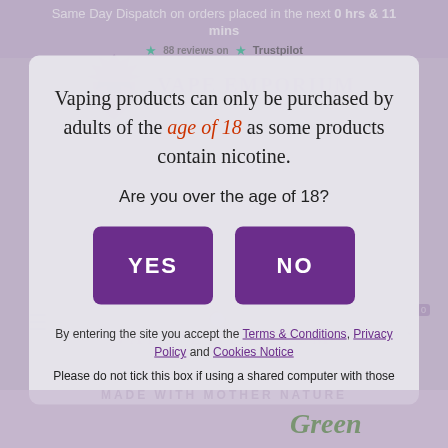Same Day Dispatch on orders placed in the next 0 hrs & 11 mins
[Figure (logo): Vape Emporium logo with purple shield/crest and stylized VE monogram, with text 'VAPE EMPORIUM' and tagline 'You Must Be 18 or over to shop with Vape Emporium']
Vaping products can only be purchased by adults of the age of 18 as some products contain nicotine.
Are you over the age of 18?
YES
NO
By entering the site you accept the Terms & Conditions, Privacy Policy and Cookies Notice
Please do not tick this box if using a shared computer with those